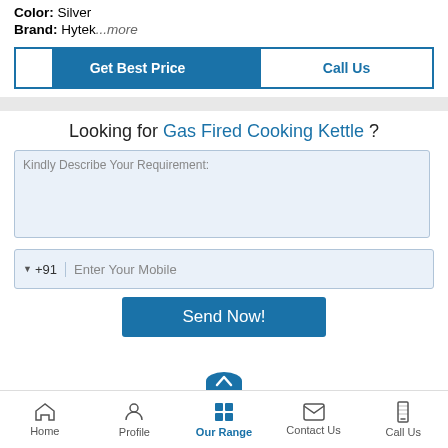Color: Silver
Brand: Hytek...more
Get Best Price
Call Us
Looking for Gas Fired Cooking Kettle ?
Kindly Describe Your Requirement:
▼ +91   Enter Your Mobile
Send Now!
Home   Profile   Our Range   Contact Us   Call Us